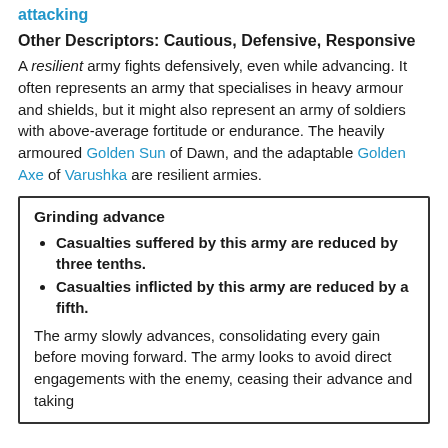attacking
Other Descriptors: Cautious, Defensive, Responsive
A resilient army fights defensively, even while advancing. It often represents an army that specialises in heavy armour and shields, but it might also represent an army of soldiers with above-average fortitude or endurance. The heavily armoured Golden Sun of Dawn, and the adaptable Golden Axe of Varushka are resilient armies.
Grinding advance
Casualties suffered by this army are reduced by three tenths.
Casualties inflicted by this army are reduced by a fifth.
The army slowly advances, consolidating every gain before moving forward. The army looks to avoid direct engagements with the enemy, ceasing their advance and taking